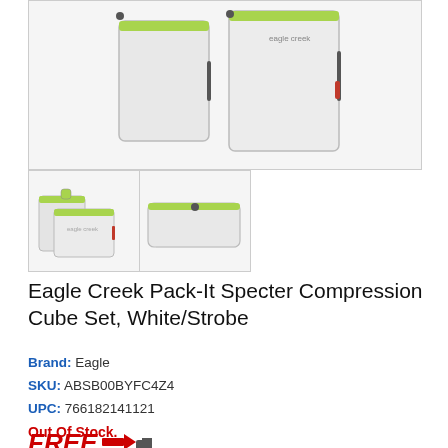[Figure (photo): Eagle Creek Pack-It Specter Compression Cube Set product photo showing two white packing cubes with green/lime zipper accents on a light background]
[Figure (photo): Thumbnail of two smaller white packing cubes with lime green handles]
[Figure (photo): Thumbnail of a flat white packing cube/pouch with lime green zipper]
Eagle Creek Pack-It Specter Compression Cube Set, White/Strobe
Brand: Eagle
SKU: ABSB00BYFC4Z4
UPC: 766182141121
Out Of Stock.
Price: $32.05
[Figure (infographic): FREE shipping badge with arrow and truck icon in red]